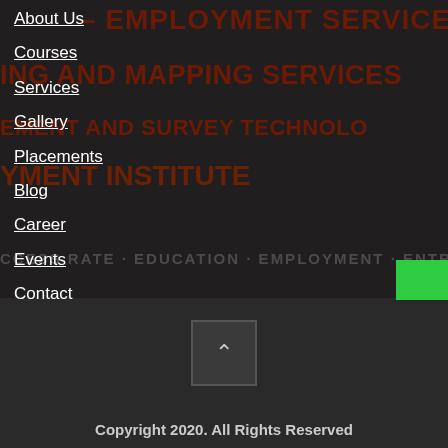About Us
Courses
Services
Gallery
Placements
Blog
Career
Events
Contact
[Figure (screenshot): Website navigation menu overlay on a dark background with large bold orange/brown text showing employment services, marking and mapping services, employment and survey technology, employment institute, and a ticker-style text at bottom. Green phone button and teal phone icon button on right side. Back-to-top button in center. Copyright notice at bottom.]
Copyright 2020. All Rights Reserved